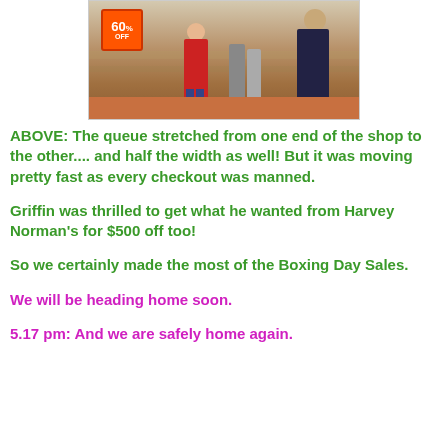[Figure (photo): Interior of a retail store (Harvey Norman) showing a long queue of shoppers, with a 60% off sale sign visible on the left, people walking through aisles with merchandise on shelves.]
ABOVE: The queue stretched from one end of the shop to the other.... and half the width as well! But it was moving pretty fast as every checkout was manned.
Griffin was thrilled to get what he wanted from Harvey Norman's for $500 off too!
So we certainly made the most of the Boxing Day Sales.
We will be heading home soon.
5.17 pm: And we are safely home again.